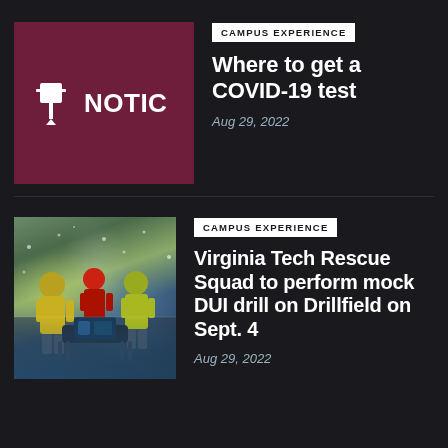[Figure (illustration): Maroon notice board graphic with pushpin icon and text NOTICE partially visible]
CAMPUS EXPERIENCE
Where to get a COVID-19 test
Aug 29, 2022
[Figure (photo): Emergency rescue workers in yellow vests pushing a stretcher in snowy/wet weather outdoors]
CAMPUS EXPERIENCE
Virginia Tech Rescue Squad to perform mock DUI drill on Drillfield on Sept. 4
Aug 29, 2022